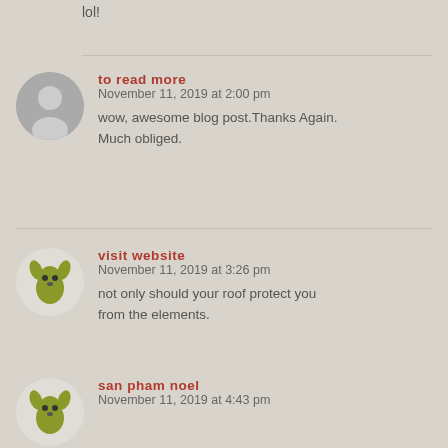lol!
to read more
November 11, 2019 at 2:00 pm
wow, awesome blog post.Thanks Again. Much obliged.
visit website
November 11, 2019 at 3:26 pm
not only should your roof protect you from the elements.
san pham noel
November 11, 2019 at 4:43 pm